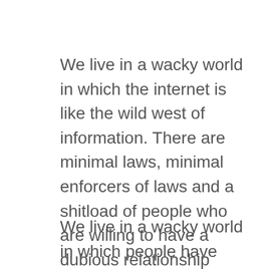We live in a wacky world in which the internet is like the wild west of information. There are minimal laws, minimal enforcers of laws and a shitload of people who are willing to have a dubious relationship with any law <and truth or proper use of facts>.
We live in a wacky world in which people have more access to an almost unlimited amount of information and